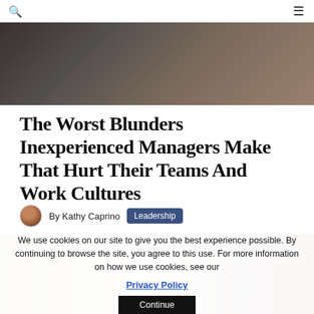Search | Menu
[Figure (photo): Top portion of an article hero image showing a dark blurred background, appears to be an indoor scene]
The Worst Blunders Inexperienced Managers Make That Hurt Their Teams And Work Cultures
By Kathy Caprino  Leadership
[Figure (photo): Second article photo showing a person in a bright indoor setting with warm tones and natural light]
We use cookies on our site to give you the best experience possible. By continuing to browse the site, you agree to this use. For more information on how we use cookies, see our Privacy Policy
Continue